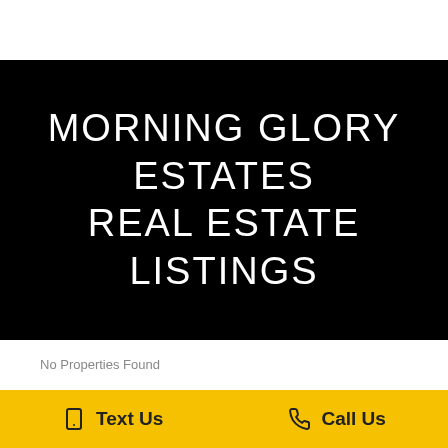MORNING GLORY ESTATES REAL ESTATE LISTINGS
No Properties Found
POPULAR PARADISE VALLEY AREA
Text Us   Call Us